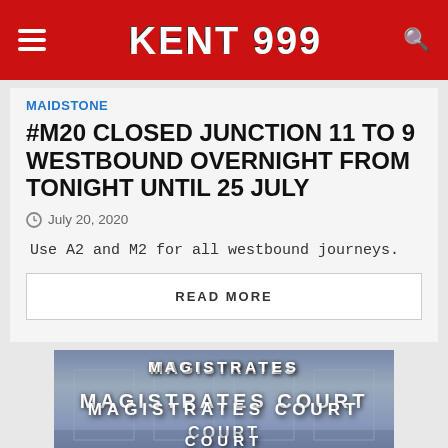KENT 999
MAIDSTONE
#M20 CLOSED JUNCTION 11 TO 9 WESTBOUND OVERNIGHT FROM TONIGHT UNTIL 25 JULY
July 20, 2020
Use A2 and M2 for all westbound journeys.
READ MORE
[Figure (photo): Exterior of a Magistrates Court building with stone facade and text 'MAGISTRATES COURT' carved/displayed prominently]